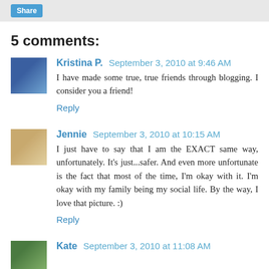5 comments:
Kristina P.  September 3, 2010 at 9:46 AM
I have made some true, true friends through blogging. I consider you a friend!
Reply
Jennie  September 3, 2010 at 10:15 AM
I just have to say that I am the EXACT same way, unfortunately. It's just...safer. And even more unfortunate is the fact that most of the time, I'm okay with it. I'm okay with my family being my social life. By the way, I love that picture. :)
Reply
Kate  September 3, 2010 at 11:08 AM